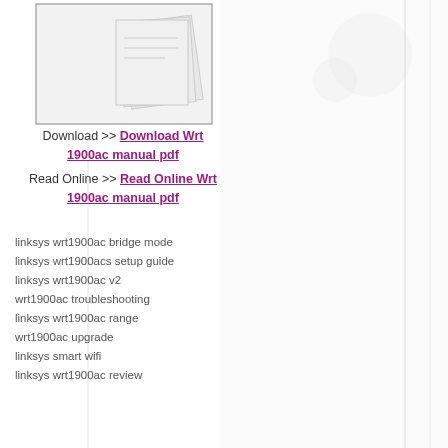[Figure (illustration): Faded background with stacked papers/documents icon on the left and decorative circular shapes on the right]
Download >> Download Wrt 1900ac manual pdf
Read Online >> Read Online Wrt 1900ac manual pdf
linksys wrt1900ac bridge mode
linksys wrt1900acs setup guide
linksys wrt1900ac v2
wrt1900ac troubleshooting
linksys wrt1900ac range
wrt1900ac upgrade
linksys smart wifi
linksys wrt1900ac review